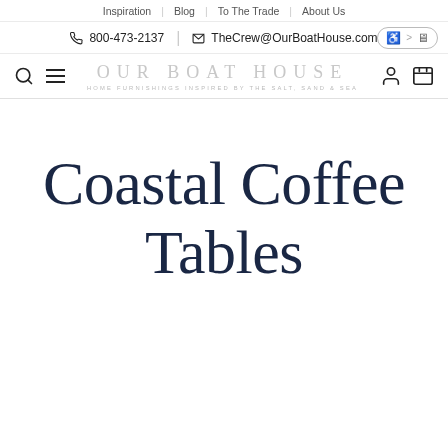Inspiration | Blog | To The Trade | About Us
📞 800-473-2137 | ✉ TheCrew@OurBoatHouse.com
OUR BOAT HOUSE
HOME FURNISHINGS INSPIRED BY THE SALT, SAND & SEA
Coastal Coffee Tables